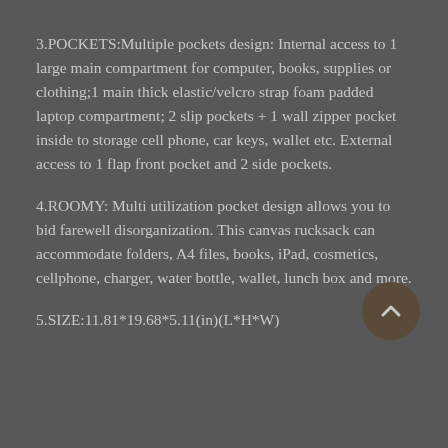3.POCKETS:Multiple pockets design: Internal access to 1 large main compartment for computer, books, supplies or clothing;1 main thick elastic/velcro strap foam padded laptop compartment; 2 slip pockets + 1 wall zipper pocket inside to storage cell phone, car keys, wallet etc. External access to 1 flap front pocket and 2 side pockets.
4.ROOMY: Multi utilization pocket design allows you to bid farewell disorganization. This canvas rucksack can accommodate folders, A4 files, books, iPad, cosmetics, cellphone, charger, water bottle, wallet, lunch box and more.
5.SIZE:11.81*19.68*5.11(in)(L*H*W)